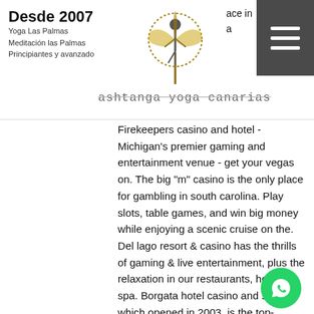Desde 2007 | Yoga Las Palmas | Meditación las Palmas | Principiantes y avanzado | ashtanga yoga canarias
Firekeepers casino and hotel - Michigan's premier gaming and entertainment venue - get your vegas on. The big "m" casino is the only place for gambling in south carolina. Play slots, table games, and win big money while enjoying a scenic cruise on the. Del lago resort &amp; casino has the thrills of gaming &amp; live entertainment, plus the relaxation in our restaurants, hotel &amp; spa. Borgata hotel casino and spa, which opened in 2003, is the top-grossing casino in the atlantic city region and the. Experience luxurious accommodations, our world-class spa &amp; salon, award-winning dining, gaming, and entertainment at the best place to. How to locate casinos near me. But where is the closest casino to me? and slot machines? blackjack? roulette? here are